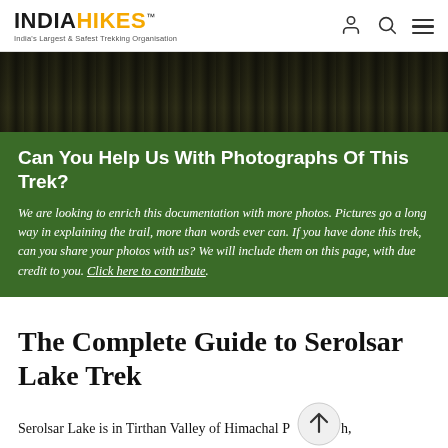INDIAHIKES™ — India's Largest & Safest Trekking Organisation
[Figure (photo): Dark forest canopy banner image with dense dark green/brown foliage]
Can You Help Us With Photographs Of This Trek?
We are looking to enrich this documentation with more photos. Pictures go a long way in explaining the trail, more than words ever can. If you have done this trek, can you share your photos with us? We will include them on this page, with due credit to you. Click here to contribute.
The Complete Guide to Serolsar Lake Trek
Serolsar Lake is in Tirthan Valley of Himachal Pradesh, located 75 km away from Kullu. The lake is situated at an altitude of 10,170 ft. To access the lake, you've to trek for